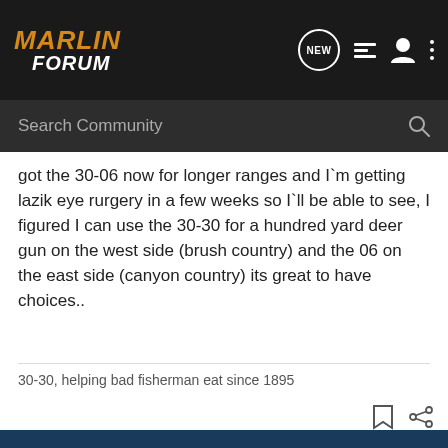MARLIN FORUM
got the 30-06 now for longer ranges and I`m getting lazik eye rurgery in a few weeks so I`ll be able to see, I figured I can use the 30-30 for a hundred yard deer gun on the west side (brush country) and the 06 on the east side (canyon country) its great to have choices..
30-30, helping bad fisherman eat since 1895
[Figure (screenshot): Cabela's Highest-Rated Gear advertisement banner with star rating 4.9 and play button]